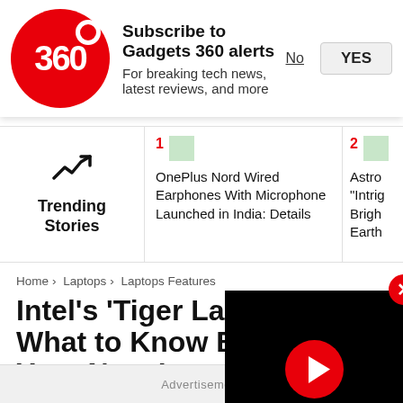[Figure (screenshot): Gadgets 360 notification subscription banner with red circular logo showing '360', bold title 'Subscribe to Gadgets 360 alerts', subtitle 'For breaking news, latest reviews, and more', and No/YES buttons]
[Figure (screenshot): Trending Stories bar with trending icon, story 1: OnePlus Nord Wired Earphones With Microphone Launched in India: Details, story 2: partially visible Astro... headline]
Home > Laptops > Laptops Features
Intel's 'Tiger Lake' Ge... What to Know Before... Your Next Laptop
An Interview with Intel's head of mobile platforms
[Figure (screenshot): Black video player overlay with red play button and red close X button]
Advertisement